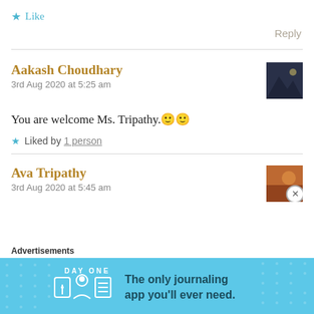★ Like
Reply
Aakash Choudhary
3rd Aug 2020 at 5:25 am
You are welcome Ms. Tripathy. 🙂🙂
★ Liked by 1 person
Ava Tripathy
3rd Aug 2020 at 5:45 am
Advertisements
[Figure (infographic): Day One journaling app advertisement banner with blue background, icons of a notebook, person, and document, text: 'The only journaling app you'll ever need.']